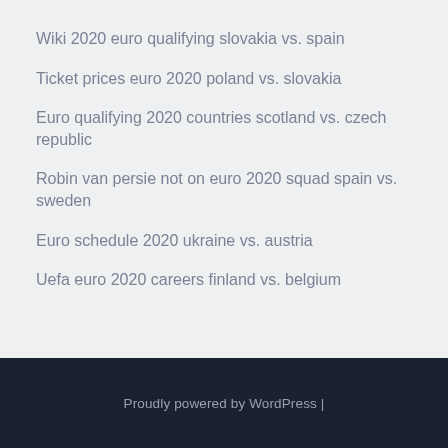Wiki 2020 euro qualifying slovakia vs. spain
Ticket prices euro 2020 poland vs. slovakia
Euro qualifying 2020 countries scotland vs. czech republic
Robin van persie not on euro 2020 squad spain vs. sweden
Euro schedule 2020 ukraine vs. austria
Uefa euro 2020 careers finland vs. belgium
Proudly powered by WordPress |